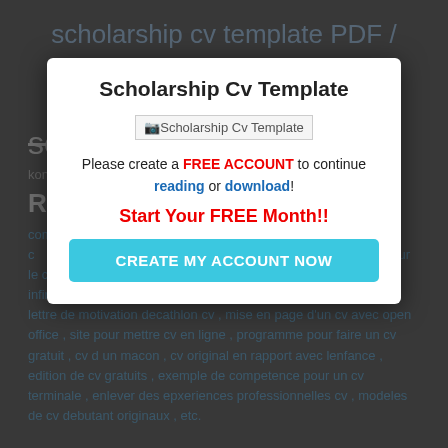scholarship cv template PDF / ePUB Book
scholarship cv template
konfucius. ... 00 user reviews.
Recent
comment ... to en rond dans un c... stant supply ch... mment sur le cv c... dans un cv infirmie... terest , comment metre une nouvelle lettre de motivation decathlon cv , mise en page d'un cv avec open office , site pour mettre cv en ligne , programme pour faire un cv gratuit , cv d un macon , cv original en rapport avec lenfance , edition de cv gratuits , exemple de competence pour un cv terminale , enlever des epxeriences professionnelles cv , modeles de cv debutant originaux , etc.
Scholarship Cv Template
[Figure (other): Scholarship Cv Template image placeholder]
Please create a FREE ACCOUNT to continue reading or download!
Start Your FREE Month!!
CREATE MY ACCOUNT NOW